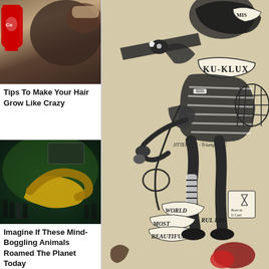[Figure (photo): Photo of person bending head down with a Coca-Cola bottle nearby, related to hair growth tips]
Tips To Make Your Hair Grow Like Crazy
[Figure (photo): Aerial photo of large golden snake sculpture at an indoor event with green lighting and crowd]
Imagine If These Mind-Boggling Animals Roamed The Planet Today
[Figure (illustration): Historical cartoon illustration featuring KU-KLUX imagery with a figure holding a whip and noose, featuring ribbons reading WORLD MOST BEAUTIFUL LEG text and JITTERBUG Triumph of... text]